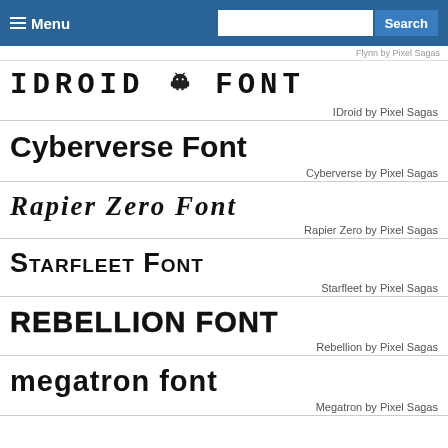☰ Menu  [search input]  Search
Flynn by Pixel Sagas
IDROID 🤖 FONT
IDroid by Pixel Sagas
Cyberverse Font
Cyberverse by Pixel Sagas
Rapier Zero Font
Rapier Zero by Pixel Sagas
Starfleet Font
Starfleet by Pixel Sagas
REBELLION FONT
Rebellion by Pixel Sagas
megatron font
Megatron by Pixel Sagas